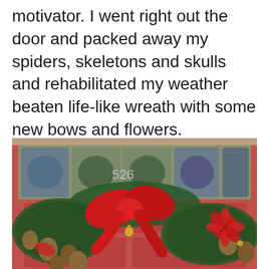motivator. I went right out the door and packed away my spiders, skeletons and skulls and rehabilitated my weather beaten life-like wreath with some new bows and flowers.
[Figure (photo): A green Christmas wreath with a large red bow and red poinsettia flowers and pine cones, hanging on a red door with a stained glass window above it showing the number 526.]